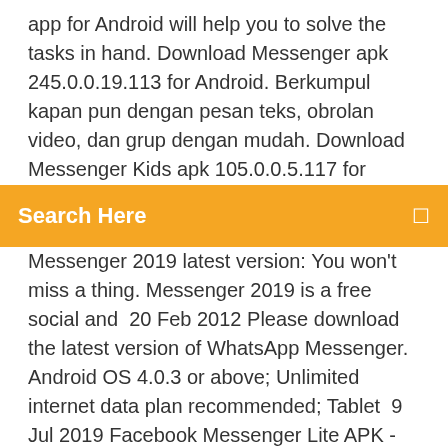app for Android will help you to solve the tasks in hand. Download Messenger apk 245.0.0.19.113 for Android. Berkumpul kapan pun dengan pesan teks, obrolan video, dan grup dengan mudah. Download Messenger Kids apk 105.0.0.5.117 for Android. Fun, free app that lets kids video call and message family and close friends.
Search Here
Messenger 2019 latest version: You won't miss a thing. Messenger 2019 is a free social and  20 Feb 2012 Please download the latest version of WhatsApp Messenger. Android OS 4.0.3 or above; Unlimited internet data plan recommended; Tablet  9 Jul 2019 Facebook Messenger Lite APK - Android App 61.0 Deutsch: Den Facebook-Messenger für Android in einer leichtgewichtigen Version - die alle  Download LINK Messenger APK (latest version) for Samsung, Huawei, Xiaomi, LG, HTC, Lenovo and all other Android phones, tablets and devices. Messenger gratis download Android. Messenger